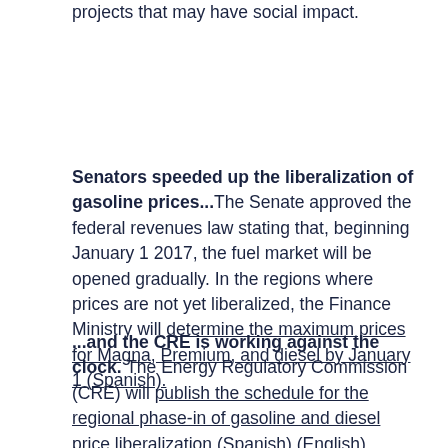projects that may have social impact.
Senators speeded up the liberalization of gasoline prices...The Senate approved the federal revenues law stating that, beginning January 1 2017, the fuel market will be opened gradually. In the regions where prices are not yet liberalized, the Finance Ministry will determine the maximum prices for Magna, Premium, and diesel by January 1 (Spanish).
...and the CRE is working against the clock. The Energy Regulatory Commission (CRE) will publish the schedule for the regional phase-in of gasoline and diesel price liberalization (Spanish) (English). Before that can happen, the Federal Economic Competition Commission